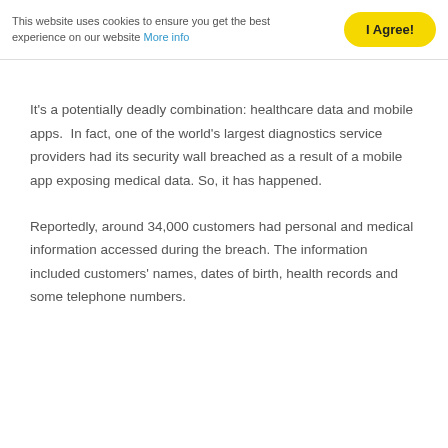This website uses cookies to ensure you get the best experience on our website More info
I Agree!
It’s a potentially deadly combination: healthcare data and mobile apps.  In fact, one of the world's largest diagnostics service providers had its security wall breached as a result of a mobile app exposing medical data. So, it has happened.
Reportedly, around 34,000 customers had personal and medical information accessed during the breach. The information included customers’ names, dates of birth, health records and some telephone numbers.